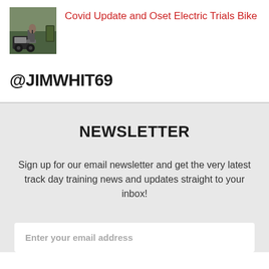[Figure (photo): Thumbnail photo of a person with a trials motorcycle outdoors]
Covid Update and Oset Electric Trials Bike
@JIMWHIT69
NEWSLETTER
Sign up for our email newsletter and get the very latest track day training news and updates straight to your inbox!
Enter your email address